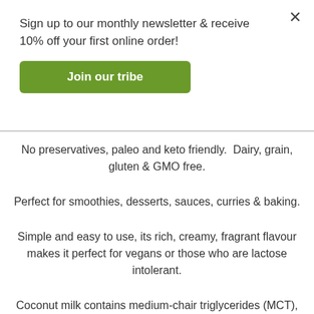Sign up to our monthly newsletter & receive 10% off your first online order!
Join our tribe
No preservatives, paleo and keto friendly.  Dairy, grain, gluten & GMO free.
Perfect for smoothies, desserts, sauces, curries & baking.
Simple and easy to use, its rich, creamy, fragrant flavour makes it perfect for vegans or those who are lactose intolerant.
Coconut milk contains medium-chair triglycerides (MCT), healthy good fats which convert to ketones that are rapidly absorbed and metabolized, making it the ideal ingredient for paleo, ketogenic and wholefood lifestyles.